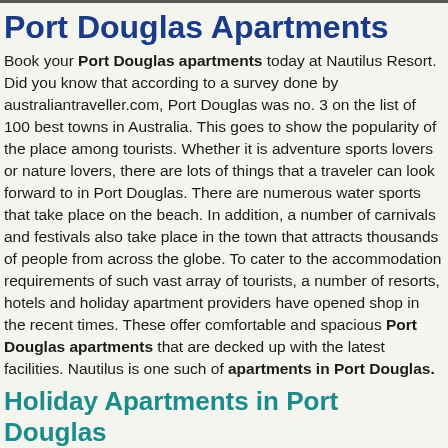Port Douglas Apartments
Book your Port Douglas apartments today at Nautilus Resort. Did you know that according to a survey done by australiantraveller.com, Port Douglas was no. 3 on the list of 100 best towns in Australia. This goes to show the popularity of the place among tourists. Whether it is adventure sports lovers or nature lovers, there are lots of things that a traveler can look forward to in Port Douglas. There are numerous water sports that take place on the beach. In addition, a number of carnivals and festivals also take place in the town that attracts thousands of people from across the globe. To cater to the accommodation requirements of such vast array of tourists, a number of resorts, hotels and holiday apartment providers have opened shop in the recent times. These offer comfortable and spacious Port Douglas apartments that are decked up with the latest facilities. Nautilus is one such of apartments in Port Douglas.
Holiday Apartments in Port Douglas
Nautilus Holiday Apartments ensures maximum satisfaction to the customers. Whether it be an individual traveler or a family, they